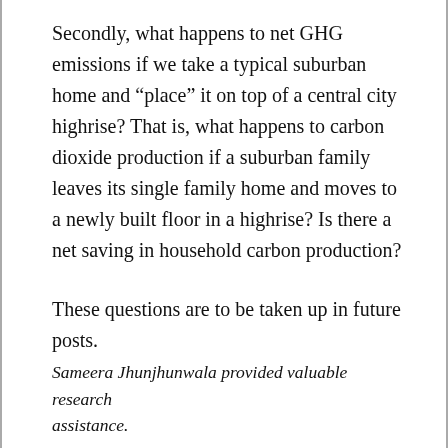Secondly, what happens to net GHG emissions if we take a typical suburban home and “place” it on top of a central city highrise? That is, what happens to carbon dioxide production if a suburban family leaves its single family home and moves to a newly built floor in a highrise? Is there a net saving in household carbon production?
These questions are to be taken up in future posts.
Sameera Jhunjhunwala provided valuable research assistance.